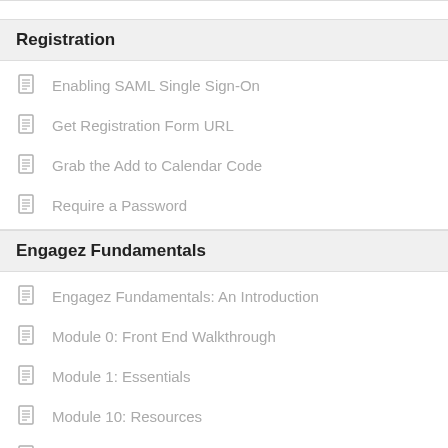Registration
Enabling SAML Single Sign-On
Get Registration Form URL
Grab the Add to Calendar Code
Require a Password
Engagez Fundamentals
Engagez Fundamentals: An Introduction
Module 0: Front End Walkthrough
Module 1: Essentials
Module 10: Resources
Module 11: Forms